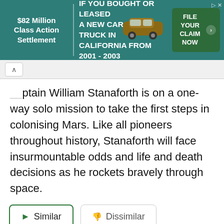[Figure (infographic): Advertisement banner: '$82 Million Class Action Settlement - IF YOU BOUGHT OR LEASED A NEW CAR OR TRUCK IN CALIFORNIA FROM 2001 - 2003' with a car photo and 'FILE YOUR CLAIM NOW' button on teal background]
Captain William Stanaforth is on a one-way solo mission to take the first steps in colonising Mars. Like all pioneers throughout history, Stanaforth will face insurmountable odds and life and death decisions as he rockets bravely through space.
[Figure (screenshot): Two UI buttons: a 'Similar' button with green border and play icon, and a 'Dissimilar' button with gray border and thumbs-down icon]
[Figure (photo): Gray placeholder image rectangle]